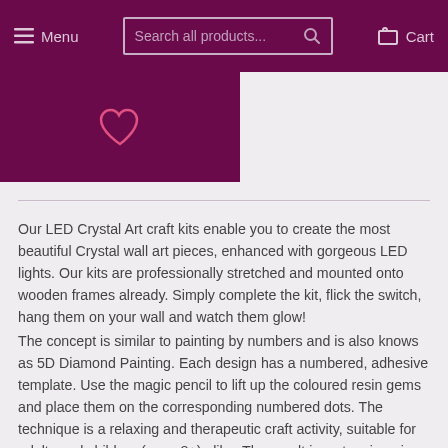Menu  Search all products...  Cart
[Figure (other): Purple block with heart icon]
Our LED Crystal Art craft kits enable you to create the most beautiful Crystal wall art pieces, enhanced with gorgeous LED lights. Our kits are professionally stretched and mounted onto wooden frames already. Simply complete the kit, flick the switch, hang them on your wall and watch them glow!
The concept is similar to painting by numbers and is also knows as 5D Diamond Painting. Each design has a numbered, adhesive template. Use the magic pencil to lift up the coloured resin gems and place them on the corresponding numbered dots. The technique is a relaxing and therapeutic craft activity, suitable for adults and children (ages 8+) alike. The result is a stunning piece of rhinestone art, which you can mount on your wall, or gift to